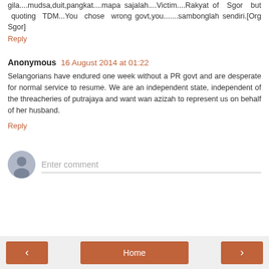gila....mudsa,duit,pangkat...mapa sajalah...Victim...Rakyat of Sgor but quoting TDM...You chose wrong govt,you.......sambonglah sendiri.[Org Sgor]
Reply
Anonymous 16 August 2014 at 01:22
Selangorians have endured one week without a PR govt and are desperate for normal service to resume. We are an independent state, independent of the threacheries of putrajaya and want wan azizah to represent us on behalf of her husband.
Reply
Enter comment
< Home >